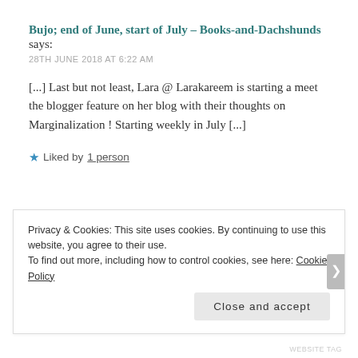Bujo; end of June, start of July – Books-and-Dachshunds says:
28TH JUNE 2018 AT 6:22 AM
[...] Last but not least, Lara @ Larakareem is starting a meet the blogger feature on her blog with their thoughts on Marginalization ! Starting weekly in July [...]
★ Liked by 1 person
REPLY ↩
Privacy & Cookies: This site uses cookies. By continuing to use this website, you agree to their use.
To find out more, including how to control cookies, see here: Cookie Policy
Close and accept